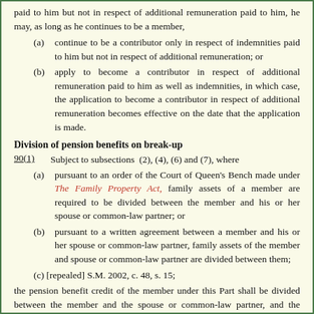paid to him but not in respect of additional remuneration paid to him, he may, as long as he continues to be a member,
(a) continue to be a contributor only in respect of indemnities paid to him but not in respect of additional remuneration; or
(b) apply to become a contributor in respect of additional remuneration paid to him as well as indemnities, in which case, the application to become a contributor in respect of additional remuneration becomes effective on the date that the application is made.
Division of pension benefits on break-up
90(1)   Subject to subsections (2), (4), (6) and (7), where
(a) pursuant to an order of the Court of Queen's Bench made under The Family Property Act, family assets of a member are required to be divided between the member and his or her spouse or common-law partner; or
(b) pursuant to a written agreement between a member and his or her spouse or common-law partner, family assets of the member and spouse or common-law partner are divided between them;
(c) [repealed] S.M. 2002, c. 48, s. 15;
the pension benefit credit of the member under this Part shall be divided between the member and the spouse or common-law partner, and the division shall be made in the manner provided in this Part and directed by the administrator notwithstanding that the order or